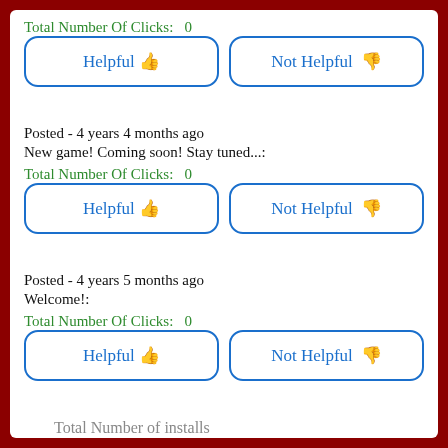Total Number Of Clicks:  0
Helpful | Not Helpful
Posted - 4 years 4 months ago
New game! Coming soon! Stay tuned...:
Total Number Of Clicks:  0
Helpful | Not Helpful
Posted - 4 years 5 months ago
Welcome!:
Total Number Of Clicks:  0
Helpful | Not Helpful
Total Number of installs
1,000
Playstore Link